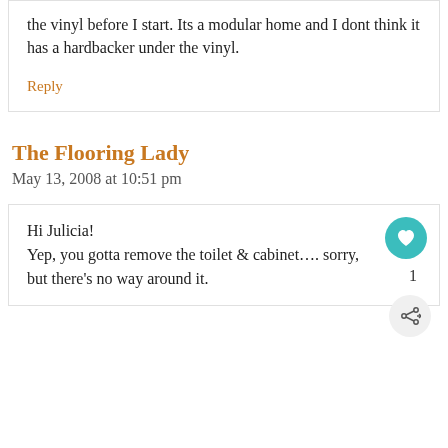the vinyl before I start. Its a modular home and I dont think it has a hardbacker under the vinyl.
Reply
The Flooring Lady
May 13, 2008 at 10:51 pm
Hi Julicia! Yep, you gotta remove the toilet & cabinet…. sorry, but there's no way around it.